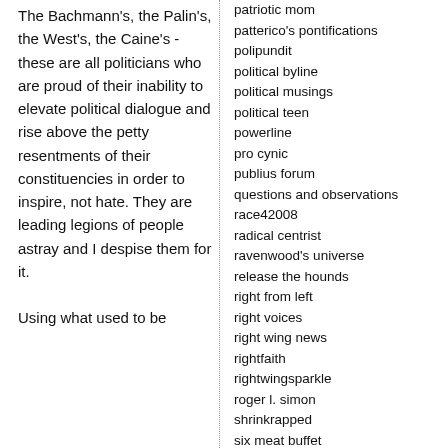The Bachmann's, the Palin's, the West's, the Caine's - these are all politicians who are proud of their inability to elevate political dialogue and rise above the petty resentments of their constituencies in order to inspire, not hate. They are leading legions of people astray and I despise them for it.

Using what used to be
patriotic mom
patterico's pontifications
polipundit
political byline
political musings
political teen
powerline
pro cynic
publius forum
questions and observations
race42008
radical centrist
ravenwood's universe
release the hounds
right from left
right voices
right wing news
rightfaith
rightwingsparkle
roger l. simon
shrinkrapped
six meat buffet
slowplay.com
socal pundit
socratic rythm method
stout republican
terrorism unveiled
tfs magnum
the art of the blog
the belmont club
the conservative cat
the donegal express
the liberal wrong-wing